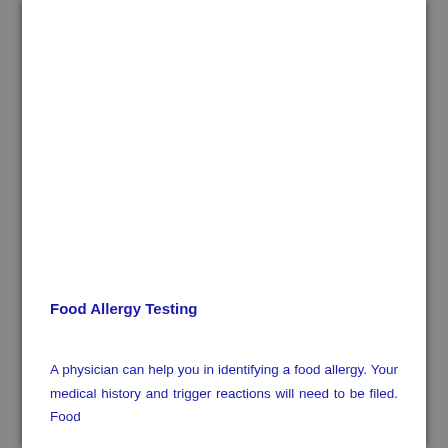Food Allergy Testing
A physician can help you in identifying a food allergy. Your medical history and trigger reactions will need to be filed. Food